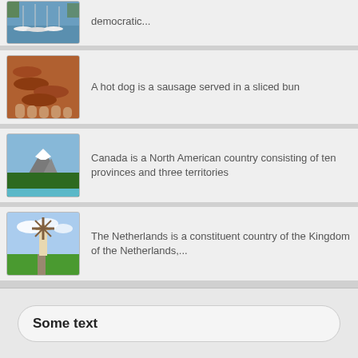democratic...
[Figure (photo): Photo of boats/yachts moored at a marina]
A hot dog is a sausage served in a sliced bun
[Figure (photo): Photo of hot dogs/sausages]
Canada is a North American country consisting of ten provinces and three territories
[Figure (photo): Photo of a mountain landscape in Canada]
The Netherlands is a constituent country of the Kingdom of the Netherlands,...
[Figure (photo): Photo of a windmill in the Netherlands]
Some text